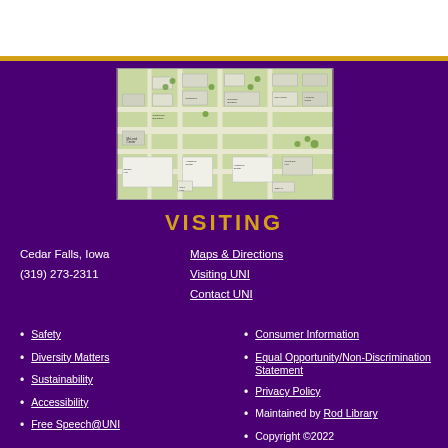[Figure (map): UNI campus map showing buildings and pathways in Cedar Falls, Iowa]
VISITING
Cedar Falls, Iowa
(319) 273-2311
Maps & Directions
Visiting UNI
Contact UNI
Safety
Diversity Matters
Sustainability
Accessibility
Free Speech@UNI
Consumer Information
Equal Opportunity/Non-Discrimination Statement
Privacy Policy
Maintained by Rod Library
Copyright ©2022